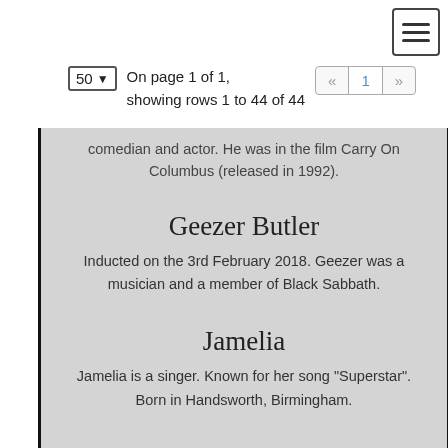[Figure (other): Hamburger menu button icon in top right corner]
50 ▾  On page 1 of 1, showing rows 1 to 44 of 44  « 1 »
comedian and actor. He was in the film Carry On Columbus (released in 1992).
Geezer Butler
Inducted on the 3rd February 2018. Geezer was a musician and a member of Black Sabbath.
Jamelia
Jamelia is a singer. Known for her song "Superstar". Born in Handsworth, Birmingham.